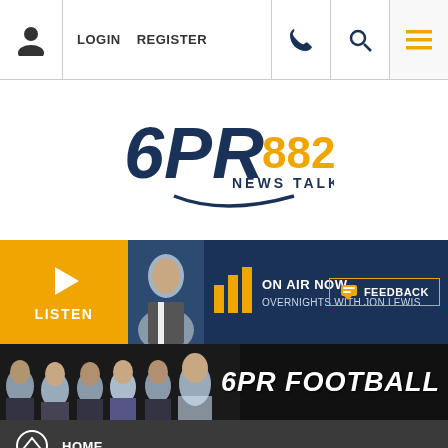LOGIN  REGISTER
[Figure (logo): 6PR 882 News Talk radio station logo with dark blue text and gold 882]
[Figure (infographic): Listen / On Air Now bar with orange Listen button, host photo, bar chart icon, ON AIR NOW text, OVERNIGHTS WITH JON LEWIS, and FEEDBACK button]
[Figure (photo): 6PR Football banner showing group photo of male presenters on black background with 6PR FOOTBALL text in bold white italic]
HOME
MEET THE TEAM
TIPPING
BROADCAST SCHEDULE